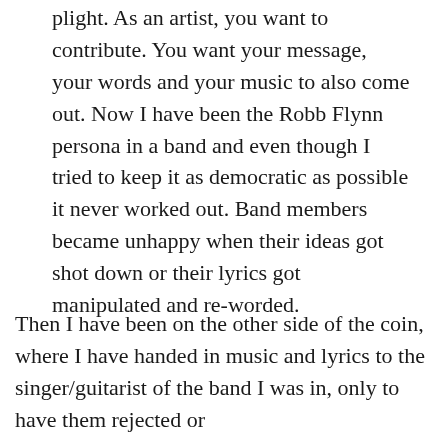plight. As an artist, you want to contribute. You want your message, your words and your music to also come out. Now I have been the Robb Flynn persona in a band and even though I tried to keep it as democratic as possible it never worked out. Band members became unhappy when their ideas got shot down or their lyrics got manipulated and re-worded.
Then I have been on the other side of the coin, where I have handed in music and lyrics to the singer/guitarist of the band I was in, only to have them rejected or